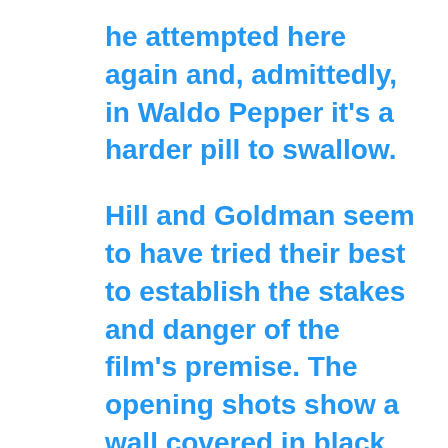he attempted here again and, admittedly, in Waldo Pepper it's a harder pill to swallow.
Hill and Goldman seem to have tried their best to establish the stakes and danger of the film's premise. The opening shots show a wall covered in black and white photos of pilots, their ages beneath, all implied to have died young. But that doesn't soften the impact when, around halfway through the picture, death brutally enters. Goldman's talked of how one particular